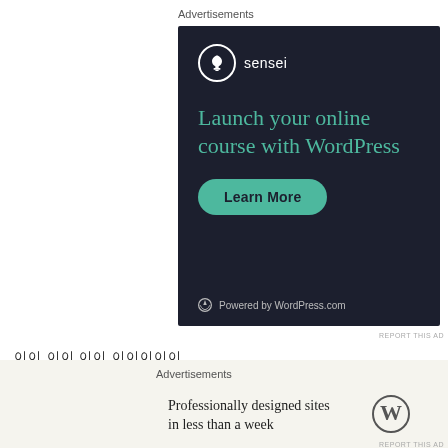Advertisements
[Figure (illustration): Sensei advertisement banner with dark navy background. Shows Sensei logo (bonsai tree in circle) with brand name, headline 'Launch your online course with WordPress' in teal, a 'Learn More' teal pill button, and 'Powered by WordPress.com' footer.]
REPORT THIS AD
이 이 이이 이이이이이
이이이 이이 이이이이이
[Figure (illustration): Close/dismiss circle button with X icon]
Advertisements
[Figure (illustration): WordPress advertisement banner on light beige background. Text: 'Professionally designed sites in less than a week' with WordPress W logo on right.]
REPORT THIS AD